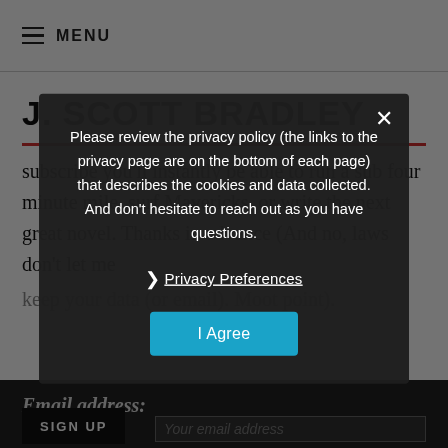≡ MENU
J. SCOTT BRADLEY
subscribe you'll instantly be able to run a sub four minute mile, surf Mavericks, or write the next great novel. Thanks in advance (And no, laws don't let me keep you data (or email). Moot point).
Email address:
Please review the privacy policy (the links to the privacy page are on the bottom of each page) that describes the cookies and data collected. And don't hesitate to reach out as you have questions.
❯  Privacy Preferences
I Agree
SIGN UP